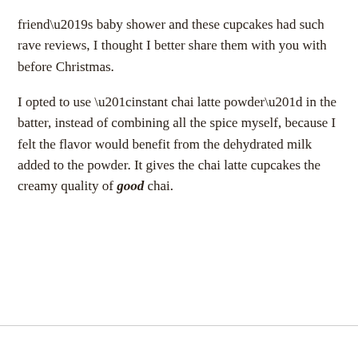friend's baby shower and these cupcakes had such rave reviews, I thought I better share them with you with before Christmas.
I opted to use “instant chai latte powder” in the batter, instead of combining all the spice myself, because I felt the flavor would benefit from the dehydrated milk added to the powder. It gives the chai latte cupcakes the creamy quality of good chai.